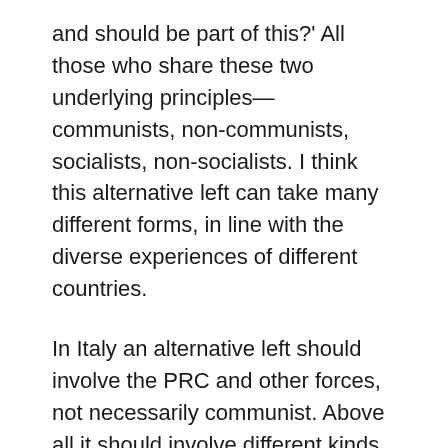and should be part of this?' All those who share these two underlying principles—communists, non-communists, socialists, non-socialists. I think this alternative left can take many different forms, in line with the diverse experiences of different countries.
In Italy an alternative left should involve the PRC and other forces, not necessarily communist. Above all it should involve different kinds of organisations, not just parties but segments of movements as well—sections of trade unions, areas of social conflict, etc. A form of political participation should be built that doesn't involve rejecting the party, which is still necessary, but one which situates itself in a closer relationship with other organisations. In this fashion unity and radical politics are proposed at the same time: a stress on radical